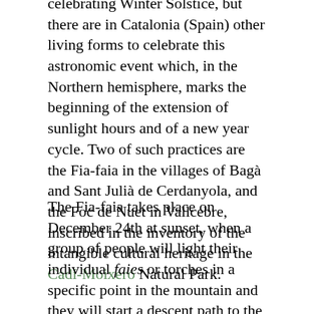celebrating Winter Solstice, but there are in Catalonia (Spain) other living forms to celebrate this astronomic event which, in the Northern hemisphere, marks the beginning of the extension of sunlight hours and of a new year cycle. Two of such practices are the Fia-faia in the villages of Bagà and Sant Julià de Cerdanyola, and the Foc de Nuet in Vallcebre, inscribed in the inventory of the intangible cultural heritage in the Cadí-Moixeró Natural Park.
The Fia-faia takes place on December 24th at sunset, when a group of people will light their individual faies or torches in a specific point in the mountain and they will start a descent path to the village's plaza. There, other people of different ages are waiting with their own faies ready to be lighted. The burning faies descending from the mountain will ignite the other torches